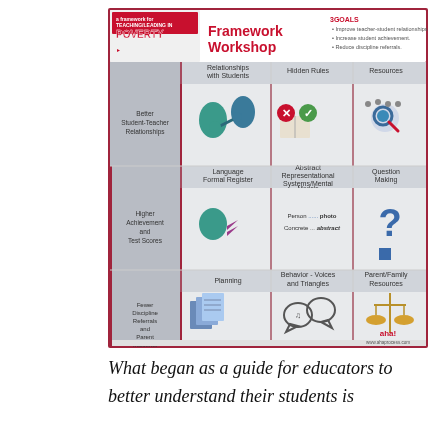[Figure (infographic): Framework Workshop infographic showing 3 GOALS: Improve teacher-student relationships, Increase student achievement, Reduce discipline referrals. Grid with rows: Better Student-Teacher Relationships (Relationships with Students, Hidden Rules, Resources); Higher Achievement and Test Scores (Language Formal Register, Abstract Representational Systems/Mental Models, Question Making); Fewer Discipline Referrals and Parent Incidents (Planning, Behavior - Voices and Triangles, Parent/Family Resources and Stability). aha! Process logo at bottom right.]
What began as a guide for educators to better understand their students is